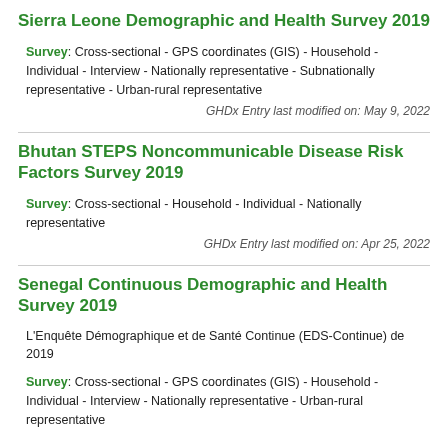Sierra Leone Demographic and Health Survey 2019
Survey: Cross-sectional - GPS coordinates (GIS) - Household - Individual - Interview - Nationally representative - Subnationally representative - Urban-rural representative
GHDx Entry last modified on: May 9, 2022
Bhutan STEPS Noncommunicable Disease Risk Factors Survey 2019
Survey: Cross-sectional - Household - Individual - Nationally representative
GHDx Entry last modified on: Apr 25, 2022
Senegal Continuous Demographic and Health Survey 2019
L'Enquête Démographique et de Santé Continue (EDS-Continue) de 2019
Survey: Cross-sectional - GPS coordinates (GIS) - Household - Individual - Interview - Nationally representative - Urban-rural representative